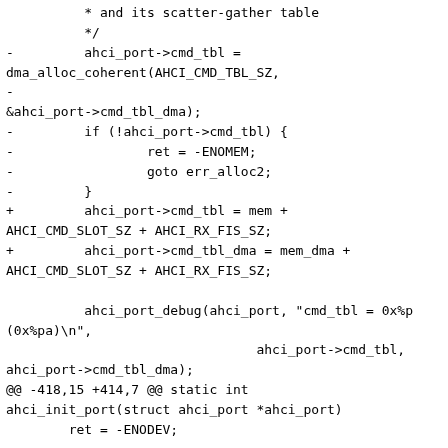* and its scatter-gather table
 */
-        ahci_port->cmd_tbl =
dma_alloc_coherent(AHCI_CMD_TBL_SZ,
-
&ahci_port->cmd_tbl_dma);
-        if (!ahci_port->cmd_tbl) {
-                ret = -ENOMEM;
-                goto err_alloc2;
-        }
+        ahci_port->cmd_tbl = mem +
AHCI_CMD_SLOT_SZ + AHCI_RX_FIS_SZ;
+        ahci_port->cmd_tbl_dma = mem_dma +
AHCI_CMD_SLOT_SZ + AHCI_RX_FIS_SZ;

         ahci_port_debug(ahci_port, "cmd_tbl = 0x%p
(0x%pa)\n",
                                ahci_port->cmd_tbl,
ahci_port->cmd_tbl_dma);
@@ -418,15 +414,7 @@ static int
ahci_init_port(struct ahci_port *ahci_port)
        ret = -ENODEV;

 err_init:
-        dma_free_coherent(ahci_port->cmd_tbl,
ahci_port->cmd_tbl_dma,
-                                AHCI_CMD_TBL_SZ);
-err_alloc2:
-        dma_free_coherent(ahci_port->rx_fis,
ahci_port->rx_fis_dma,